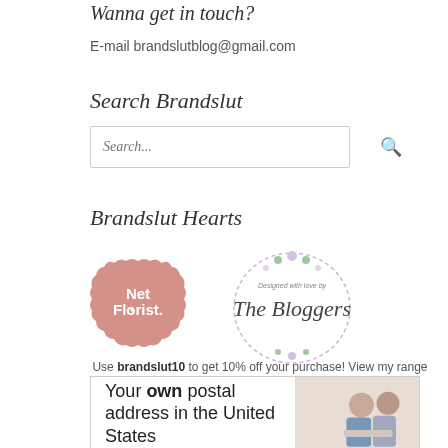Wanna get in touch?
E-mail brandslutblog@gmail.com
Search Brandslut
[Figure (screenshot): Search input box with placeholder text 'Search...' and a search icon magnifying glass]
Brandslut Hearts
[Figure (logo): Net Florist pink scalloped badge logo]
[Figure (logo): The Bloggers logo with floral wreath and text 'Designed with love by The Bloggers']
Use brandslut10 to get 10% off your purchase! View my range >
[Figure (infographic): Advertisement banner: 'Your own postal address in the United States' with two women looking at a laptop]